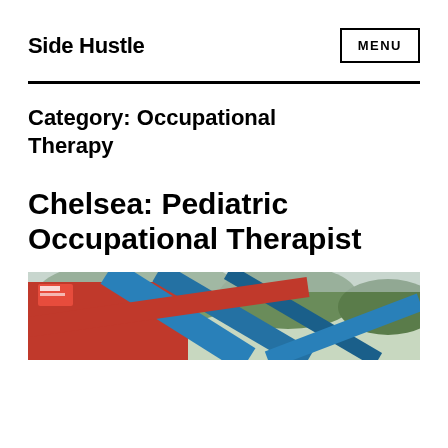Side Hustle
Category: Occupational Therapy
Chelsea: Pediatric Occupational Therapist
[Figure (photo): Colorful playground equipment with blue and red metal bars, trees visible in background]